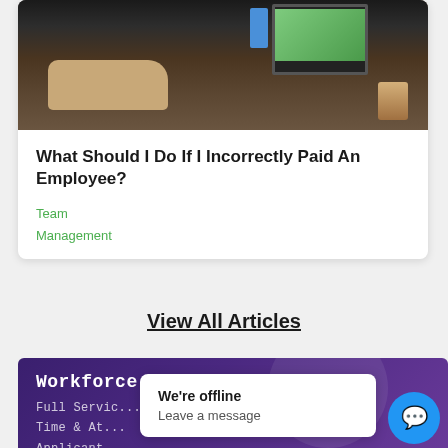[Figure (photo): Photo of a person typing on a keyboard at a desk with a computer monitor and a striped mug in the background]
What Should I Do If I Incorrectly Paid An Employee?
Team
Management
View All Articles
Workforce Solutions
Full Servic...
Time & At...
Applicant...
We're offline
Leave a message